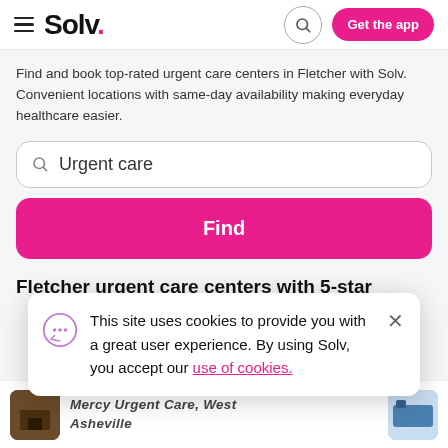Solv. — Get the app
Find and book top-rated urgent care centers in Fletcher with Solv. Convenient locations with same-day availability making everyday healthcare easier.
Urgent care (search box)
Find
Fletcher urgent care centers with 5-star
This site uses cookies to provide you with a great user experience. By using Solv, you accept our use of cookies.
Mercy Urgent Care, West Asheville